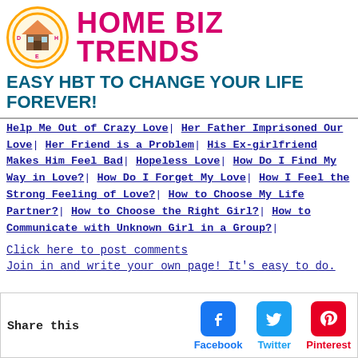HOME BIZ TRENDS
EASY HBT TO CHANGE YOUR LIFE FOREVER!
Help Me Out of Crazy Love| Her Father Imprisoned Our Love| Her Friend is a Problem| His Ex-girlfriend Makes Him Feel Bad| Hopeless Love| How Do I Find My Way in Love?| How Do I Forget My Love| How I Feel the Strong Feeling of Love?| How to Choose My Life Partner?| How to Choose the Right Girl?| How to Communicate with Unknown Girl in a Group?|
Click here to post comments
Join in and write your own page! It's easy to do.
Share this  Facebook  Twitter  Pinterest